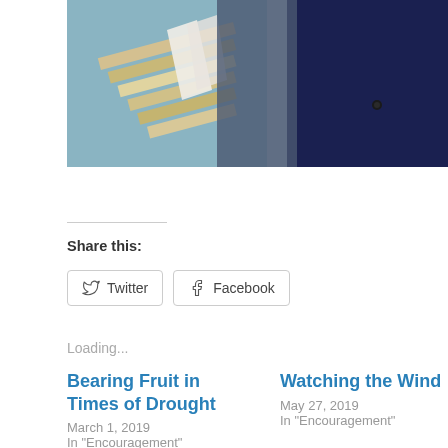[Figure (photo): Partial photo showing a bookshelf with stacked books and a person in a dark navy/blue top on the right side]
Share this:
Twitter
Facebook
Loading...
Bearing Fruit in Times of Drought
March 1, 2019
In "Encouragement"
Watching the Wind
May 27, 2019
In "Encouragement"